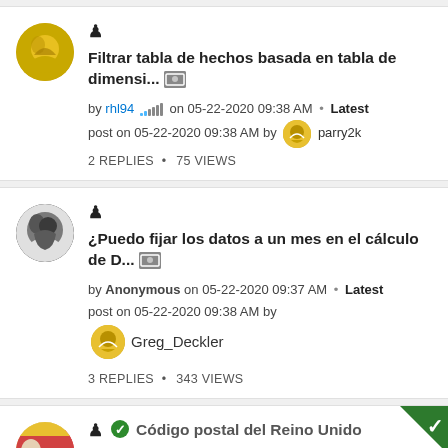Filtrar tabla de hechos basada en tabla de dimensi... by rhl94 on 05-22-2020 09:38 AM · Latest post on 05-22-2020 09:38 AM by parry2k 2 REPLIES · 75 VIEWS
¿Puedo fijar los datos a un mes en el cálculo de D... by Anonymous on 05-22-2020 09:37 AM · Latest post on 05-22-2020 09:38 AM by Greg_Deckler 3 REPLIES · 343 VIEWS
Código postal del Reino Unido